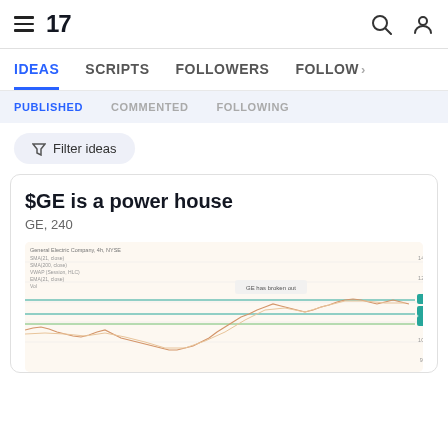TradingView navigation bar with hamburger menu, logo '17', search and user icons
IDEAS  SCRIPTS  FOLLOWERS  FOLLOW >
PUBLISHED  COMMENTED  FOLLOWING
Filter ideas
$GE is a power house
GE, 240
[Figure (continuous-plot): Stock chart for General Electric Company (GE) on a 240-minute timeframe, showing price action with moving averages. Horizontal green support/resistance lines are visible. Price shows a historical dip and recovery pattern with recent price near the top of the chart range. Green labels on right axis show price levels.]